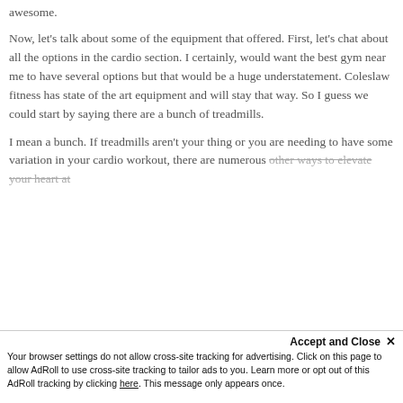awesome.
Now, let’s talk about some of the equipment that offered. First, let’s chat about all the options in the cardio section. I certainly, would want the best gym near me to have several options but that would be a huge understatement. Coleslaw fitness has state of the art equipment and will stay that way. So I guess we could start by saying there are a bunch of treadmills.
I mean a bunch. If treadmills aren’t your thing or you are needing to have some variation in your cardio workout, there are numerous other ways to elevate your heart at...
Accept and Close ×
Your browser settings do not allow cross-site tracking for advertising. Click on this page to allow AdRoll to use cross-site tracking to tailor ads to you. Learn more or opt out of this AdRoll tracking by clicking here. This message only appears once.